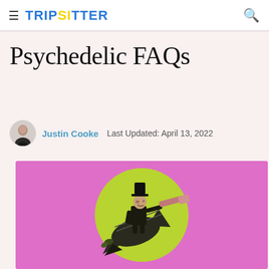≡ TRIPSITTER 🔍
Psychedelic FAQs
Justin Cooke   Last Updated: April 13, 2022
[Figure (illustration): Illustration of a man in a top hat riding a rocket and looking through a telescope, on a pink background with a yellow-green circle]